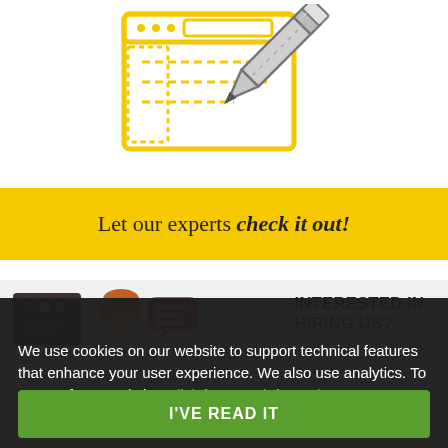[Figure (illustration): Yellow outline icon of a browser window with a pencil overlaid, suggesting website editing or review.]
Let our experts check it out!
[Figure (illustration): Section showing chat icons and a person icon on a gray background with text 'INTERESTED IN HIRING US?']
We use cookies on our website to support technical features that enhance your user experience. We also use analytics. To opt-out from analytics, click for more information.
I'VE READ IT